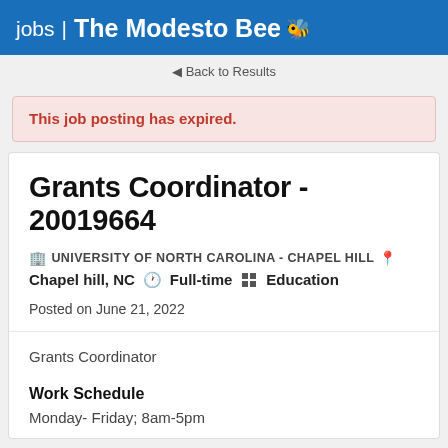jobs | The Modesto Bee
◄ Back to Results
This job posting has expired.
Grants Coordinator - 20019664
UNIVERSITY OF NORTH CAROLINA - CHAPEL HILL   Chapel hill, NC   Full-time   Education
Posted on June 21, 2022
Grants Coordinator
Work Schedule
Monday- Friday; 8am-5pm